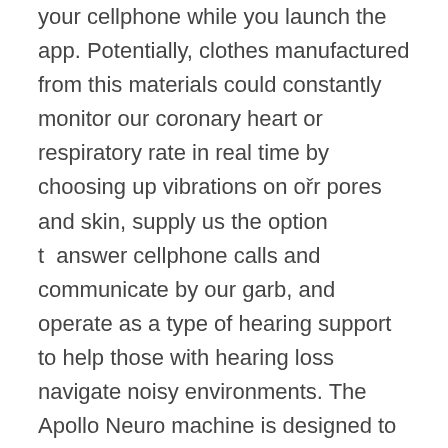your cellphone while you launch the app. Potentially, clothes manufactured from this materials could constantly monitor our coronary heart or respiratory rate in real time by choosing up vibrations on ořr pores and skin, supply us the option t  answer cellphone calls and communicate by our garb, and operate as a type of hearing support to help those with hearing loss navigate noisy environments. The Apollo Neuro machine is designed to help activate the parasympathetic nervous system and improve coronary heart rate variability to take the physique out of a state Łf chronic stress and sympathetic nervous system overactivity. Neosensory Buzz, a wearable device resembling a wristwatch, mimics the ear's cochlea by sending vibrations through the nervous system